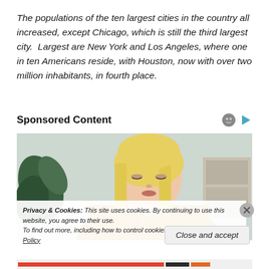The populations of the ten largest cities in the country all increased, except Chicago, which is still the third largest city.  Largest are New York and Los Angeles, where one in ten Americans reside, with Houston, now with over two million inhabitants, in fourth place.
Sponsored Content
[Figure (photo): A blonde woman in a yellow/mustard sweater looking down, with a plant in the background]
Privacy & Cookies: This site uses cookies. By continuing to use this website, you agree to their use.
To find out more, including how to control cookies, see here: Cookie Policy
Close and accept